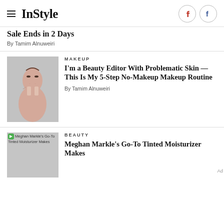InStyle
Sale Ends in 2 Days
By Tamim Alnuweiri
MAKEUP
I'm a Beauty Editor With Problematic Skin — This Is My 5-Step No-Makeup Makeup Routine
By Tamim Alnuweiri
[Figure (photo): Woman with hand behind head, no-makeup makeup look]
BEAUTY
Meghan Markle's Go-To Tinted Moisturizer Makes
[Figure (photo): Meghan Markle's Go-To Tinted Moisturizer Makes thumbnail]